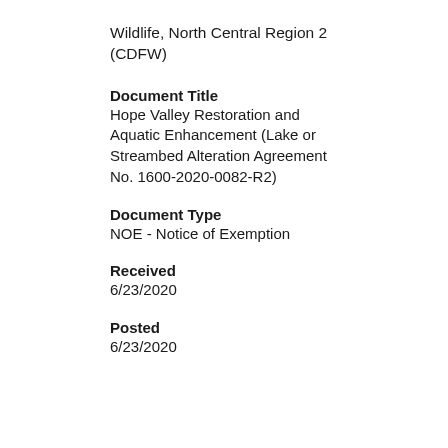Wildlife, North Central Region 2 (CDFW)
Document Title
Hope Valley Restoration and Aquatic Enhancement (Lake or Streambed Alteration Agreement No. 1600-2020-0082-R2)
Document Type
NOE - Notice of Exemption
Received
6/23/2020
Posted
6/23/2020